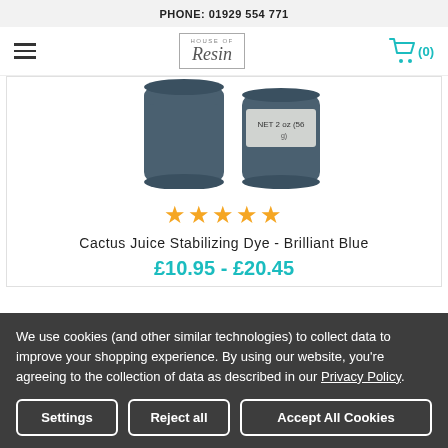PHONE: 01929 554 771
[Figure (logo): House of Resin logo in a rectangular box, with hamburger menu on left and shopping cart icon with (0) on right]
[Figure (photo): Two dark blue/slate colored cylindrical containers of Cactus Juice Stabilizing Dye - Brilliant Blue, one showing label with 2 oz (56g)]
★★★★★
Cactus Juice Stabilizing Dye - Brilliant Blue
£10.95 - £20.45
We use cookies (and other similar technologies) to collect data to improve your shopping experience. By using our website, you're agreeing to the collection of data as described in our Privacy Policy.